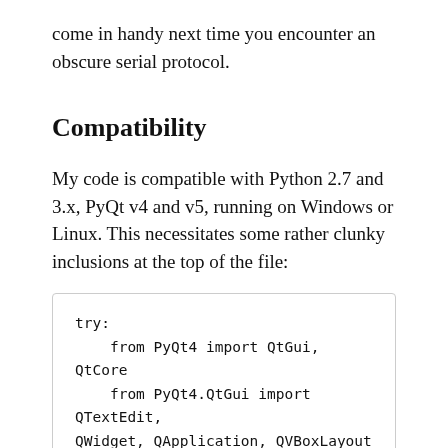come in handy next time you encounter an obscure serial protocol.
Compatibility
My code is compatible with Python 2.7 and 3.x, PyQt v4 and v5, running on Windows or Linux. This necessitates some rather clunky inclusions at the top of the file:
try:
    from PyQt4 import QtGui, QtCore
    from PyQt4.QtGui import QTextEdit, QWidget, QApplication, QVBoxLayout
except:
    from PyQt5 import QtGui, QtCore